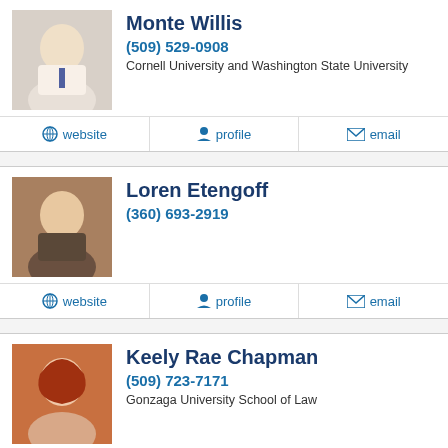[Figure (photo): Headshot of Monte Willis, a smiling middle-aged man in a light shirt and tie]
Monte Willis
(509) 529-0908
Cornell University and Washington State University
website | profile | email
[Figure (photo): Headshot of Loren Etengoff, a man in a dark jacket]
Loren Etengoff
(360) 693-2919
website | profile | email
[Figure (photo): Headshot of Keely Rae Chapman, a woman with red hair]
Keely Rae Chapman
(509) 723-7171
Gonzaga University School of Law
profile | email